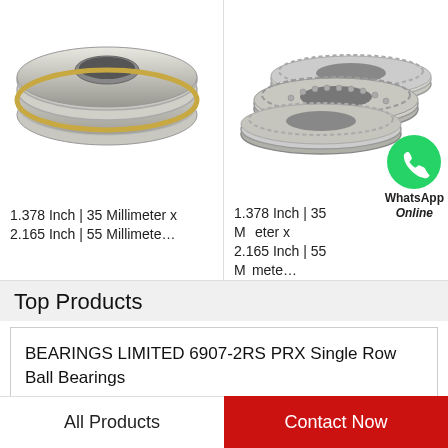[Figure (photo): Silver and gold thrust ball bearing component, round with concave center]
[Figure (photo): Thrust ball bearing set showing three flat ring components with ball bearings]
1.378 Inch | 35 Millimeter x 2.165 Inch | 55 Millimete…
1.378 Inch | 35 Millimeter x 2.165 Inch | 55 Millimete…
[Figure (logo): WhatsApp green circle icon with phone handset symbol, labeled WhatsApp Online]
Top Products
BEARINGS LIMITED 6907-2RS PRX Single Row Ball Bearings
GM INDUSTRIES GA AFX11A055GEM Fl...